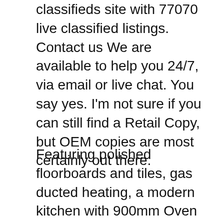classifieds site with 77070 live classified listings. Contact us We are available to help you 24/7, via email or live chat. You say yes. I'm not sure if you can still find a Retail Copy, but OEM copies are most certainly out there.
Featuring polished floorboards and tiles, gas ducted heating, a modern kitchen with 900mm Oven and gas cooktop and dishwasher. There are more than 3 million listings across hundreds of categories including: cars for sale, jobs and casual work, furniture and garden, sport and fiaň¦ Post FREE Ad. sallyjenese@gmail.com Email her directly Thx" Excited, I emailed sallyjenese@gmail.com right away, to let her know that the phone was still available. Today I found a high chair on Gumtree local to me, I ask is it still available they say yes, we arrange a time to come collect and then an hour before I get a message to say, it's now been sold - despite the arrangement for me to collect it. The option to rate users